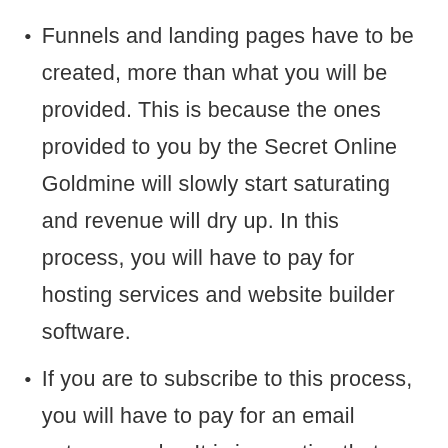Funnels and landing pages have to be created, more than what you will be provided. This is because the ones provided to you by the Secret Online Goldmine will slowly start saturating and revenue will dry up. In this process, you will have to pay for hosting services and website builder software.
If you are to subscribe to this process, you will have to pay for an email autoresponder. It is imperative that you get one that is